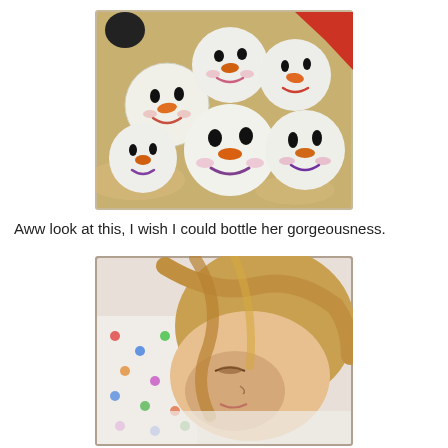[Figure (photo): A group of white Christmas ornament balls painted with snowman faces featuring orange carrot noses, black eyes, and colorful lips (purple, pink, red) arranged on a surface.]
Aww look at this, I wish I could bottle her gorgeousness.
[Figure (photo): A young child with light blonde hair sleeping, face resting on a white pillow with colorful polka dots, eyes closed peacefully.]